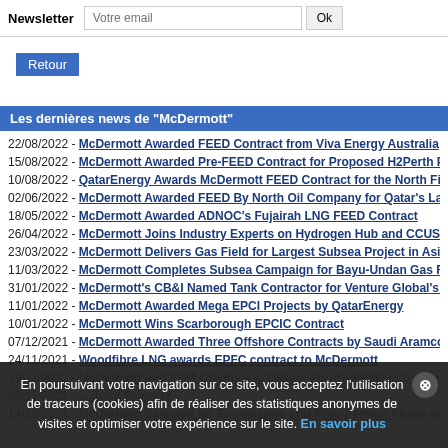Newsletter  Votre email  Ok
Retour
Les dernières news de "McDermott"
22/08/2022 - McDermott Awarded FEED Contract from Viva Energy Australia
15/08/2022 - McDermott Awarded Pre-FEED Contract for Proposed H2Perth Project from W
10/08/2022 - QatarEnergy Awards McDermott FEED Contract for the North Field South Off
02/06/2022 - McDermott Awarded FEED By North Oil Company for Qatar's Largest Offsho
18/05/2022 - McDermott Awarded ADNOC's Fujairah LNG FEED Contract
26/04/2022 - McDermott Joins Industry Experts on Hydrogen Hub and CCUS Project
23/03/2022 - McDermott Delivers Gas Field for Largest Subsea Project in Asia Pacific
11/03/2022 - McDermott Completes Subsea Campaign for Bayu-Undan Gas Field
31/01/2022 - McDermott's CB&I Named Tank Contractor for Venture Global's Plaquemines
11/01/2022 - McDermott Awarded Mega EPCI Projects by QatarEnergy
10/01/2022 - McDermott Wins Scarborough EPCIC Contract
07/12/2021 - McDermott Awarded Three Offshore Contracts by Saudi Aramco
24/11/2021 - Woodfibre LNG awards EPFC contract to McDermott
19/11/2022 - McDermott and SBM Offshore to Deliver Fourth FPSO in Guyana
02/11/2021 - ... Joint Projects
14/10/2021 - McDermott Selected for Engineering and Procurement Phase of Mega Gas Ch
En poursuivant votre navigation sur ce site, vous acceptez l'utilisation de traceurs (cookies) afin de réaliser des statistiques anonymes de visites et optimiser votre expérience sur le site. En savoir plus